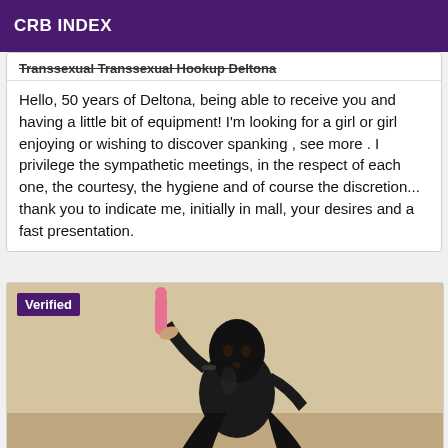CRB INDEX
Transsexual Transsexual Hookup Deltona
Hello, 50 years of Deltona, being able to receive you and having a little bit of equipment! I'm looking for a girl or girl enjoying or wishing to discover spanking , see more . I privilege the sympathetic meetings, in the respect of each one, the courtesy, the hygiene and of course the discretion... thank you to indicate me, initially in mall, your desires and a fast presentation.
[Figure (photo): Person wearing black latex/fetish outfit and mask, holding a pink object, with Verified badge overlay]